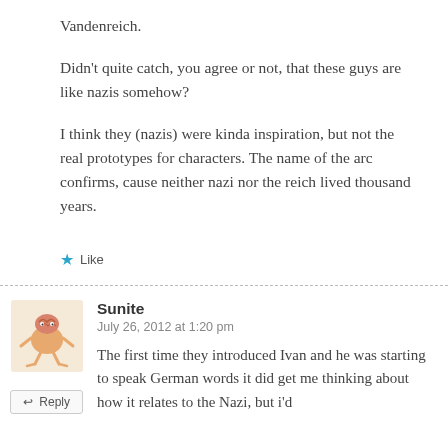Vandenreich.
Didn’t quite catch, you agree or not, that these guys are like nazis somehow?
I think they (nazis) were kinda inspiration, but not the real prototypes for characters. The name of the arc confirms, cause neither nazi nor the reich lived thousand years.
★ Like
Sunite
July 26, 2012 at 1:20 pm
The first time they introduced Ivan and he was starting to speak German words it did get me thinking about how it relates to the Nazi, but i’d